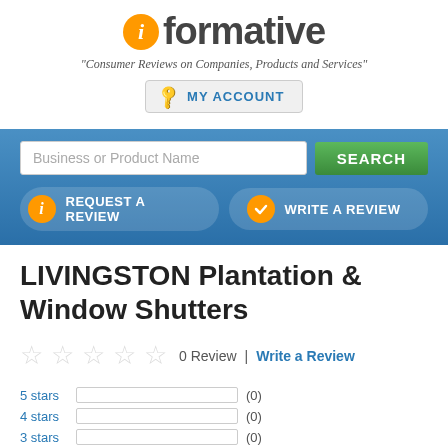[Figure (logo): iformative logo with orange circle 'i' icon and bold gray text 'formative']
"Consumer Reviews on Companies, Products and Services"
MY ACCOUNT
[Figure (screenshot): Blue navigation bar with search input 'Business or Product Name', green SEARCH button, REQUEST A REVIEW and WRITE A REVIEW action buttons]
LIVINGSTON Plantation & Window Shutters
0 Review | Write a Review
| Stars | Bar | Count |
| --- | --- | --- |
| 5 stars |  | (0) |
| 4 stars |  | (0) |
| 3 stars |  | (0) |
| 2 stars |  | (0) |
| 1 stars |  | (0) |